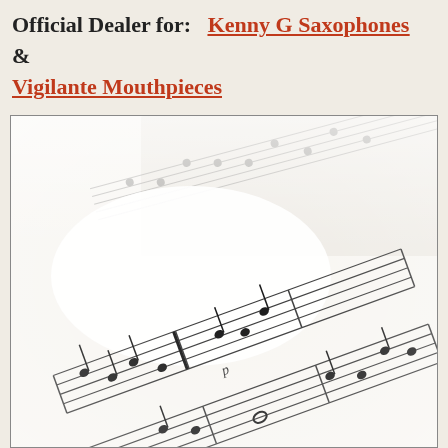Official Dealer for:  Kenny G Saxophones  &  Vigilante Mouthpieces
[Figure (photo): Close-up photograph of sheet music pages with musical notation, showing staff lines, notes, and dynamic markings like 'p', shot at an angle with some blur/depth of field effect.]